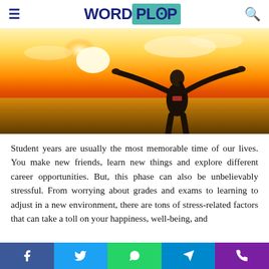≡ WORDPLOP [search icon]
[Figure (photo): Woman with arms outstretched against a dramatic golden sunset sky, standing in an open field, viewed from behind.]
Student years are usually the most memorable time of our lives. You make new friends, learn new things and explore different career opportunities. But, this phase can also be unbelievably stressful. From worrying about grades and exams to learning to adjust in a new environment, there are tons of stress-related factors that can take a toll on your happiness, well-being, and